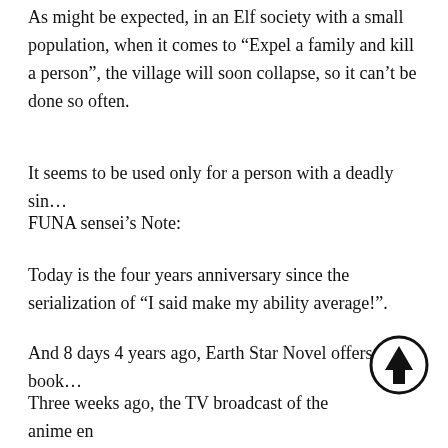As might be expected, in an Elf society with a small population, when it comes to “Expel a family and kill a person”, the village will soon collapse, so it can’t be done so often.
It seems to be used only for a person with a deadly sin…
FUNA sensei’s Note:
Today is the four years anniversary since the serialization of “I said make my ability average!”.
And 8 days 4 years ago, Earth Star Novel offers a book…
Three weeks ago, the TV broadcast of the anime en really feels like a paragraph…